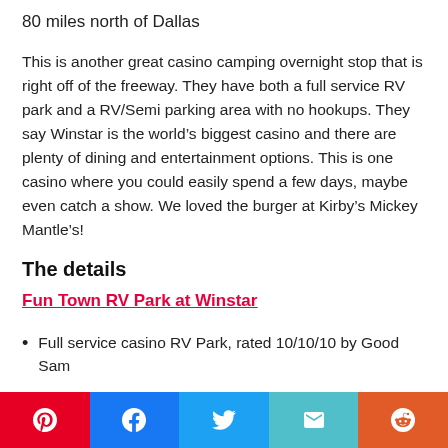80 miles north of Dallas
This is another great casino camping overnight stop that is right off of the freeway. They have both a full service RV park and a RV/Semi parking area with no hookups. They say Winstar is the world’s biggest casino and there are plenty of dining and entertainment options. This is one casino where you could easily spend a few days, maybe even catch a show. We loved the burger at Kirby’s Mickey Mantle’s!
The details
Fun Town RV Park at Winstar
Full service casino RV Park, rated 10/10/10 by Good Sam